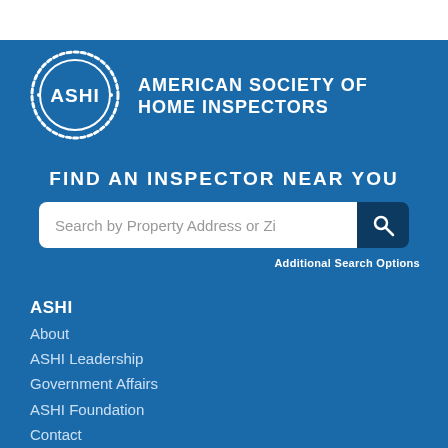[Figure (logo): ASHI circular logo with dashed white border and 'ASHI' text in center]
AMERICAN SOCIETY OF HOME INSPECTORS
FIND AN INSPECTOR NEAR YOU
Search by Property Address or Zi
Additional Search Options
ASHI
About
ASHI Leadership
Government Affairs
ASHI Foundation
Contact